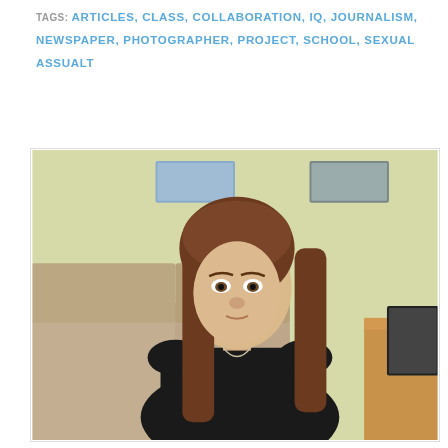TAGS: ARTICLES, CLASS, COLLABORATION, IQ, JOURNALISM, NEWSPAPER, PHOTOGRAPHER, PROJECT, SCHOOL, SEXUAL ASSUALT
[Figure (photo): Young woman with long brown hair wearing a black top, sitting on a beige/tan couch in a room with light yellow-green walls and framed pictures on the wall. A wooden side table is visible to the right.]